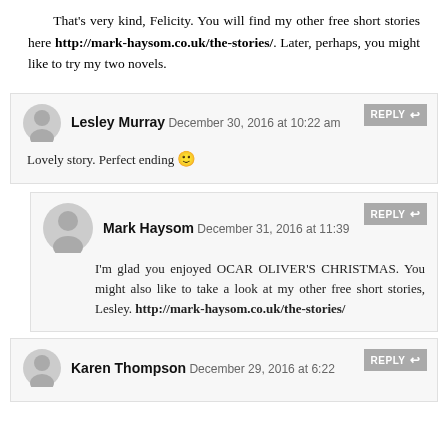That's very kind, Felicity. You will find my other free short stories here http://mark-haysom.co.uk/the-stories/. Later, perhaps, you might like to try my two novels.
Lesley Murray December 30, 2016 at 10:22 am — REPLY
Lovely story. Perfect ending 🙂
Mark Haysom December 31, 2016 at 11:39 — REPLY
I'm glad you enjoyed OCAR OLIVER'S CHRISTMAS. You might also like to take a look at my other free short stories, Lesley. http://mark-haysom.co.uk/the-stories/
Karen Thompson December 29, 2016 at 6:22 — REPLY